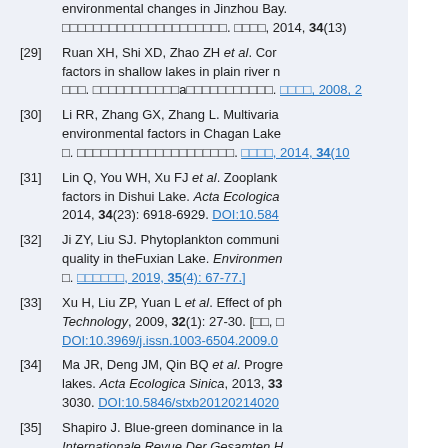[29] Ruan XH, Shi XD, Zhao ZH et al. Correlation between phytoplankton and environmental factors in shallow lakes in plain river networks. 湖泊科学, 2008, 2...
[30] Li RR, Zhang GX, Zhang L. Multivariate statistical analysis of phytoplankton and environmental factors in Chagan Lake. 湖泊科学, 2014, 34(10)...
[31] Lin Q, You WH, Xu FJ et al. Zooplankton community and its relationship with environmental factors in Dishui Lake. Acta Ecologica Sinica, 2014, 34(23): 6918-6929. DOI:10.584...
[32] Ji ZY, Liu SJ. Phytoplankton community composition and its relationship with water quality in theFuxian Lake. Environmental Science, 2019, 35(4): 67-77.]
[33] Xu H, Liu ZP, Yuan L et al. Effect of phytoplankton... Technology, 2009, 32(1): 27-30. DOI:10.3969/j.issn.1003-6504.2009.0...
[34] Ma JR, Deng JM, Qin BQ et al. Progress in the study of cyanobacteria bloom in lakes. Acta Ecologica Sinica, 2013, 33: 3030. DOI:10.5846/stxb20120214020...
[35] Shapiro J. Blue-green dominance in lakes: the role and management significance. Internationale Revue Der Gesamten H... DOI:10.1002/iroh.19840690602...